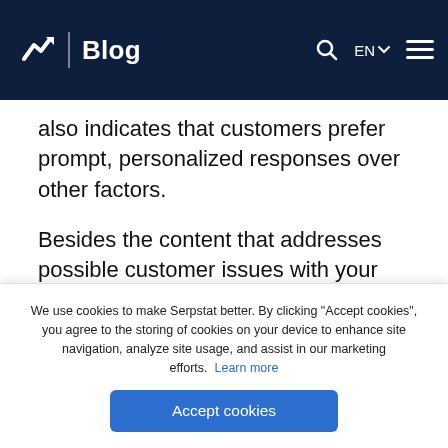Blog
also indicates that customers prefer prompt, personalized responses over other factors.
Besides the content that addresses possible customer issues with your product or service, you also need to up your customer service game. Keep in mind that your buyer has a handful of options and inquiries from other businesses at
We use cookies to make Serpstat better. By clicking "Accept cookies", you agree to the storing of cookies on your device to enhance site navigation, analyze site usage, and assist in our marketing efforts. Learn more
Accept cookies